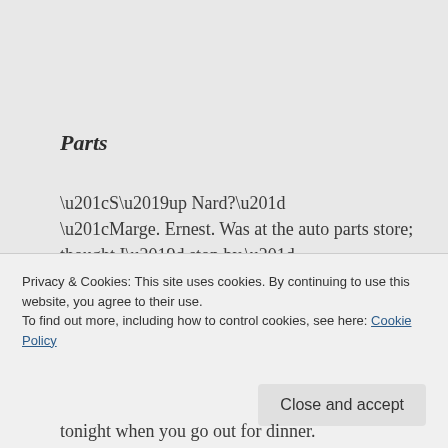Parts
“S’up Nard?”
“Marge. Ernest. Was at the auto parts store; thought I’d stop by.”
“You’re shop foreman now, why’re you the one always running to the parts store?”
Privacy & Cookies: This site uses cookies. By continuing to use this website, you agree to their use.
To find out more, including how to control cookies, see here: Cookie Policy
tonight when you go out for dinner.